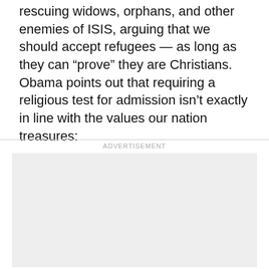rescuing widows, orphans, and other enemies of ISIS, arguing that we should accept refugees — as long as they can “prove” they are Christians. Obama points out that requiring a religious test for admission isn’t exactly in line with the values our nation treasures:
[Figure (other): Advertisement placeholder box (gray rectangle)]